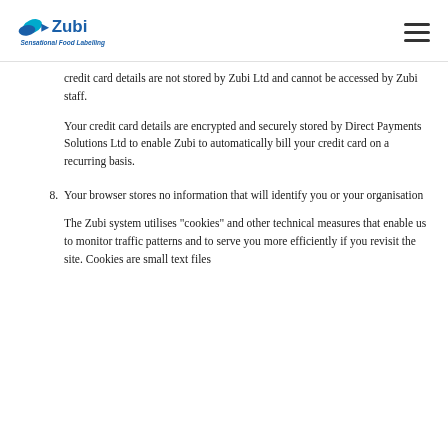Zubi - Sensational Food Labelling
credit card details are not stored by Zubi Ltd and cannot be accessed by Zubi staff.
Your credit card details are encrypted and securely stored by Direct Payments Solutions Ltd to enable Zubi to automatically bill your credit card on a recurring basis.
8. Your browser stores no information that will identify you or your organisation
The Zubi system utilises "cookies" and other technical measures that enable us to monitor traffic patterns and to serve you more efficiently if you revisit the site. Cookies are small text files